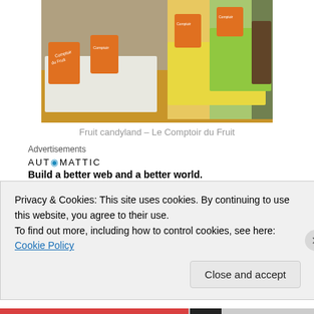[Figure (photo): A candy/confectionery market stall displaying various colorful sweets in open bins with orange 'Comptoir du Fruit' branded signs.]
Fruit candyland – Le Comptoir du Fruit
Advertisements
[Figure (logo): Automattic logo with tagline: Build a better web and a better world.]
Picnicking: Armed with fresh cherry tomatoes, gruyère cheese, bread, potato salad from the Éguisheim market...
Privacy & Cookies: This site uses cookies. By continuing to use this website, you agree to their use.
To find out more, including how to control cookies, see here: Cookie Policy
Close and accept